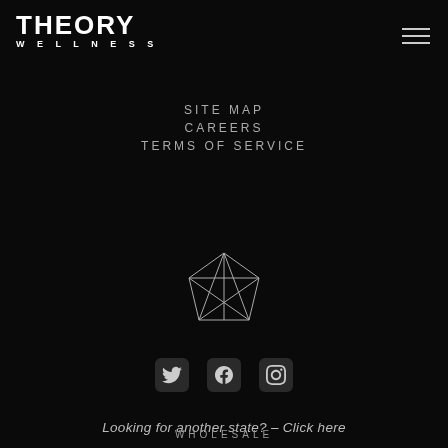THEORY WELLNESS
SITE MAP
CAREERS
TERMS OF SERVICE
[Figure (illustration): Geometric crystal/gem wireframe logo outline in white/grey lines on black background]
[Figure (infographic): Three social media icons: Twitter (bird), Facebook (f), Instagram (camera) in dark rounded square buttons]
Looking for another state? – Click here
WHOLESALE